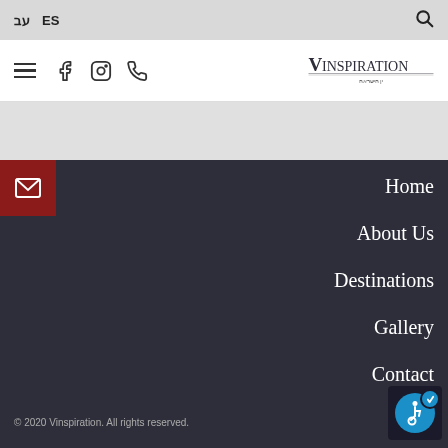עב  ES  🔍
[Figure (screenshot): Navigation bar with hamburger menu, Facebook icon, Instagram icon, phone icon, and Vinspiration logo on the right]
[Figure (logo): Vinspiration logo — wine tourism Israel brand]
[Figure (other): Mail envelope icon button in dark red on left side of dark navigation menu]
Home
About Us
Destinations
Gallery
Contact
© 2020 Vinspiration. All rights reserved.